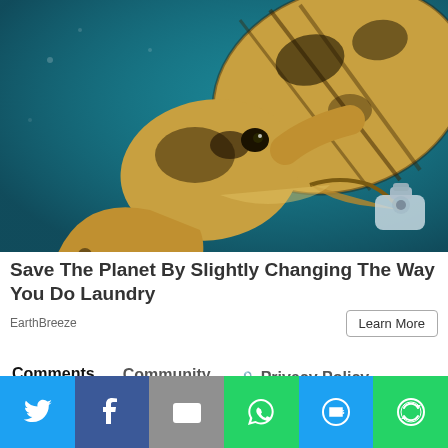[Figure (photo): Close-up underwater photo of a sea turtle biting a plastic bottle. The turtle has a yellow-brown shell with dark markings and is swimming in blue-green water.]
Save The Planet By Slightly Changing The Way You Do Laundry
EarthBreeze
Learn More
Comments  Community  Privacy Policy